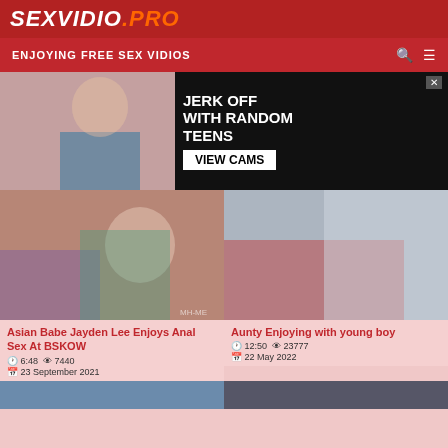SEXVIDIO.PRO
ENJOYING FREE SEX VIDIOS
[Figure (photo): Ad banner: woman photo on left, text 'JERK OFF WITH RANDOM TEENS VIEW CAMS' on black background]
[Figure (photo): Video thumbnail: Asian Babe Jayden Lee Enjoys Anal Sex At BSKOW]
Asian Babe Jayden Lee Enjoys Anal Sex At BSKOW
6:48  7440  23 September 2021
[Figure (photo): Video thumbnail: Aunty Enjoying with young boy]
Aunty Enjoying with young boy
12:50  23777  22 May 2022